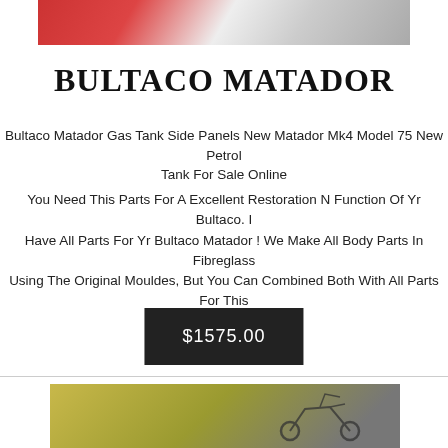[Figure (photo): Partial photo of Bultaco Matador parts including red and white components and a round metal piece on a white surface]
BULTACO MATADOR
Bultaco Matador Gas Tank Side Panels New Matador Mk4 Model 75 New Petrol Tank For Sale Online
You Need This Parts For A Excellent Restoration N Function Of Yr Bultaco. I Have All Parts For Yr Bultaco Matador ! We Make All Body Parts In Fibreglass Using The Original Mouldes, But You Can Combined Both With All Parts For This Bike.
$1575.00
[Figure (photo): Partial photo of a Bultaco Matador motorcycle with handlebars visible against a yellow-green background]